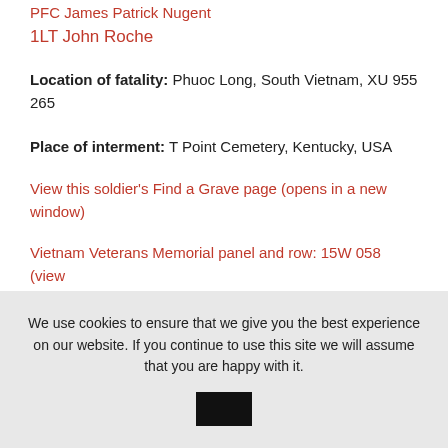PFC James Patrick Nugent
1LT John Roche
Location of fatality: Phuoc Long, South Vietnam, XU 955 265
Place of interment: T Point Cemetery, Kentucky, USA
View this soldier's Find a Grave page (opens in a new window)
Vietnam Veterans Memorial panel and row: 15W 058 (view Vietnam Veterans Memorial link in a new window)
We use cookies to ensure that we give you the best experience on our website. If you continue to use this site we will assume that you are happy with it.